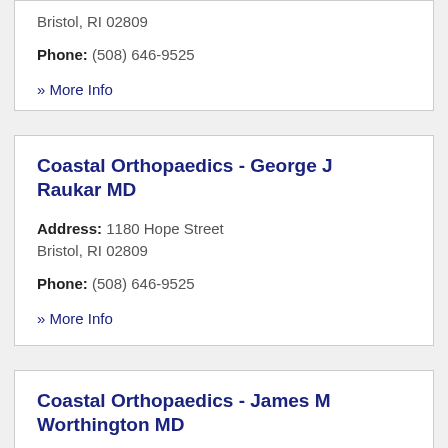Address: 1180 Hope Street Bristol, RI 02809
Phone: (508) 646-9525
» More Info
Coastal Orthopaedics - George J Raukar MD
Address: 1180 Hope Street Bristol, RI 02809
Phone: (508) 646-9525
» More Info
Coastal Orthopaedics - James M Worthington MD
Address: 1180 Hope Street